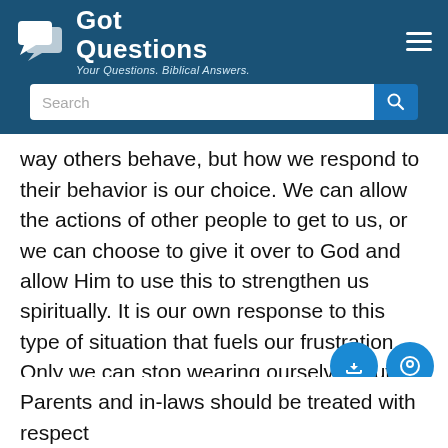[Figure (logo): GotQuestions logo with speech bubble icons and tagline 'Your Questions. Biblical Answers.' on dark blue header background with hamburger menu and search bar]
way others behave, but how we respond to their behavior is our choice. We can allow the actions of other people to get to us, or we can choose to give it over to God and allow Him to use this to strengthen us spiritually. It is our own response to this type of situation that fuels our frustration. Only we can stop wearing ourselves out emotionally by allowing an interfering mother-in-law's actions to be the arbiter of our own peace. Her behavior is not our responsibility; our response is.
Parents and in-laws should be treated with respect